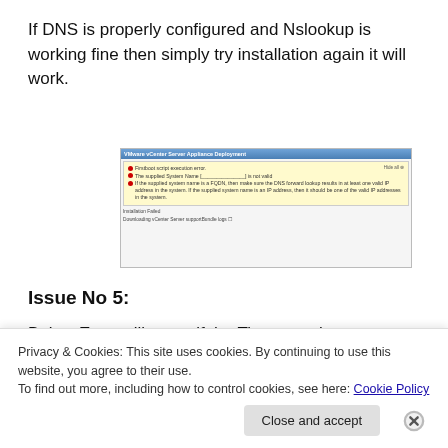If DNS is properly configured and Nslookup is working fine then simply try installation again it will work.
[Figure (screenshot): VMware vCenter Server Appliance Deployment error dialog showing installation failed errors about supplied system name not being valid and DNS forward lookup issues.]
Issue No 5:
Below Error will occur if the Time sync is not properly configured, especially when selected the host for the
Privacy & Cookies: This site uses cookies. By continuing to use this website, you agree to their use.
To find out more, including how to control cookies, see here: Cookie Policy
Close and accept